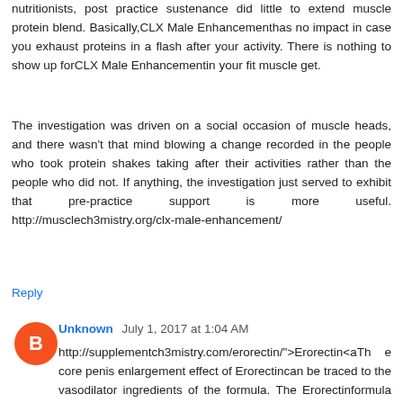nutritionists, post practice sustenance did little to extend muscle protein blend. Basically,CLX Male Enhancementhas no impact in case you exhaust proteins in a flash after your activity. There is nothing to show up forCLX Male Enhancementin your fit muscle get.
The investigation was driven on a social occasion of muscle heads, and there wasn't that mind blowing a change recorded in the people who took protein shakes taking after their activities rather than the people who did not. If anything, the investigation just served to exhibit that pre-practice support is more useful. http://musclech3mistry.org/clx-male-enhancement/
Reply
Unknown  July 1, 2017 at 1:04 AM
http://supplementch3mistry.com/erorectin/">Erorectin</aThe core penis enlargement effect of Erorectincan be traced to the vasodilator ingredients of the formula. The Erorectinformula contains Nitric Oxide boosters, which creates an uptick in cGMP, the compound that helps dilate